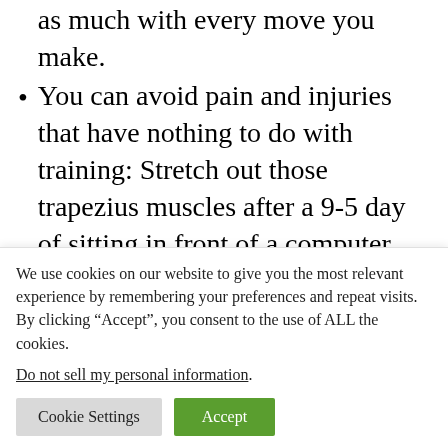as much with every move you make.
You can avoid pain and injuries that have nothing to do with training: Stretch out those trapezius muscles after a 9-5 day of sitting in front of a computer. You'll feel better.
The guy/girl you want to impress will sooooooooooo be turned on when he/she sees you casually relaxing into a full
We use cookies on our website to give you the most relevant experience by remembering your preferences and repeat visits. By clicking “Accept”, you consent to the use of ALL the cookies.
Do not sell my personal information.
Cookie Settings   Accept